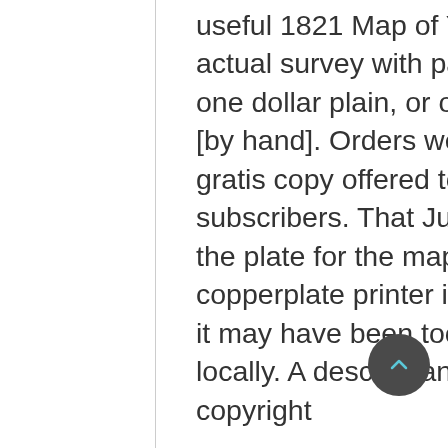useful 1821 Map of York & Adams Counties from actual survey with partner Daniel Small. It sold for one dollar plain, or one dollar and fifty cents colored [by hand]. Orders were taken by subscription, with a gratis copy offered to anyone obtaining ten subscribers. That July the York Republican reported the plate for the map was in the hands of the copperplate printer in Philadelphia. At 20 x 24 inches it may have been too large to have been printed locally. A descendant has presented the original copyright